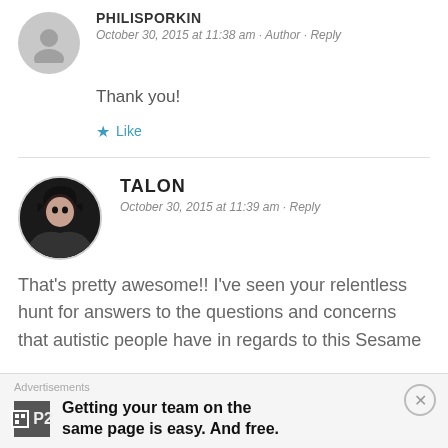PHILISPORKIN
October 30, 2015 at 11:38 am · Author · Reply
Thank you!
★ Like
TALON
October 30, 2015 at 11:39 am · Reply
That's pretty awesome!! I've seen your relentless hunt for answers to the questions and concerns that autistic people have in regards to this Sesame
Advertisements
Getting your team on the same page is easy. And free.